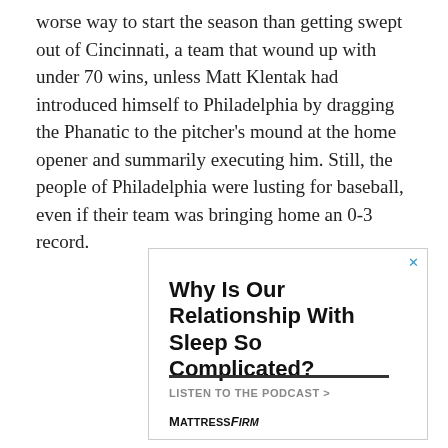worse way to start the season than getting swept out of Cincinnati, a team that wound up with under 70 wins, unless Matt Klentak had introduced himself to Philadelphia by dragging the Phanatic to the pitcher's mound at the home opener and summarily executing him. Still, the people of Philadelphia were lusting for baseball, even if their team was bringing home an 0-3 record.
[Figure (other): Advertisement for Mattress Firm podcast. Headline: 'Why Is Our Relationship With Sleep So Complicated?' with a call to action 'LISTEN TO THE PODCAST >' and Mattress Firm branding at the bottom.]